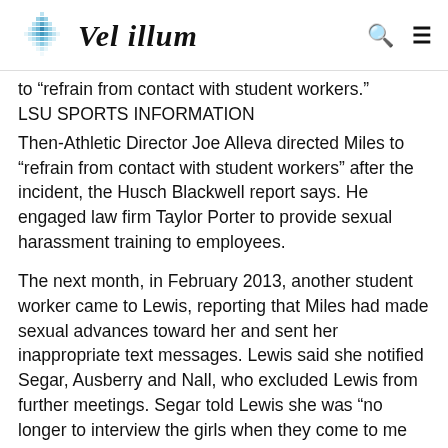Vel illum
to "refrain from contact with student workers."
LSU SPORTS INFORMATION
Then-Athletic Director Joe Alleva directed Miles to "refrain from contact with student workers" after the incident, the Husch Blackwell report says. He engaged law firm Taylor Porter to provide sexual harassment training to employees.
The next month, in February 2013, another student worker came to Lewis, reporting that Miles had made sexual advances toward her and sent her inappropriate text messages. Lewis said she notified Segar, Ausberry and Nall, who excluded Lewis from further meetings. Segar told Lewis she was "no longer to interview the girls when they come to me with complaints" and instead was "to just turn them over to her immediately" and have "no more